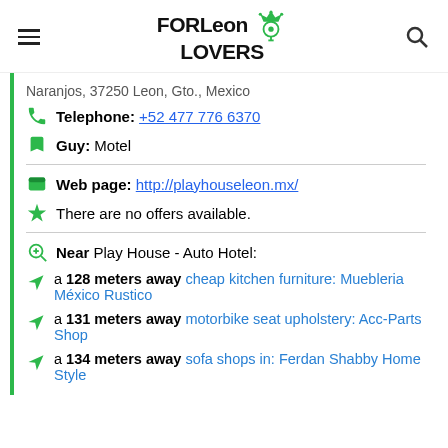FORLeon LOVERS
Naranjos, 37250 Leon, Gto., Mexico
Telephone: +52 477 776 6370
Guy: Motel
Web page: http://playhouseleon.mx/
There are no offers available.
Near Play House - Auto Hotel:
a 128 meters away cheap kitchen furniture: Muebleria México Rustico
a 131 meters away motorbike seat upholstery: Acc-Parts Shop
a 134 meters away sofa shops in: Ferdan Shabby Home Style